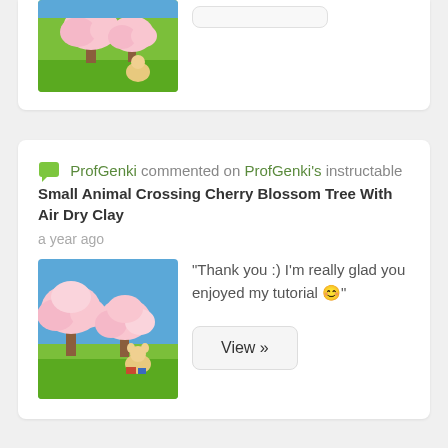[Figure (photo): Miniature cherry blossom tree with animal crossing figurine on green base, partially cropped at top]
[Figure (screenshot): View button (partially visible, white/gray rounded rectangle)]
ProfGenki commented on ProfGenki's instructable Small Animal Crossing Cherry Blossom Tree With Air Dry Clay
a year ago
[Figure (photo): Miniature cherry blossom trees with animal crossing figurine on green base, blue background]
"Thank you :) I'm really glad you enjoyed my tutorial 😊"
View »
ProfGenki favorited Miniature Stew Board (with Make-...